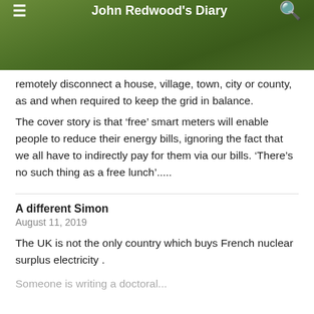John Redwood's Diary
remotely disconnect a house, village, town, city or county, as and when required to keep the grid in balance.
The cover story is that ‘free’ smart meters will enable people to reduce their energy bills, ignoring the fact that we all have to indirectly pay for them via our bills. ‘There’s no such thing as a free lunch’.....
A different Simon
August 11, 2019
The UK is not the only country which buys French nuclear surplus electricity .
Someone is writing a doctoral...